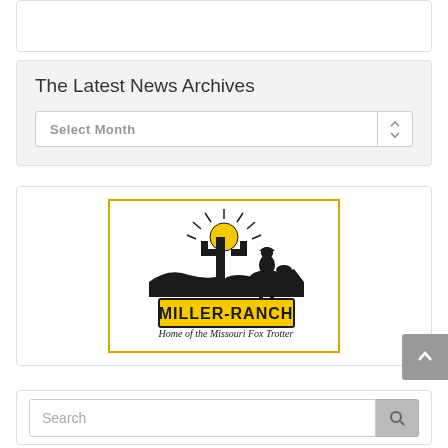The Latest News Archives
Select Month
[Figure (logo): Miller-Ranch logo: silhouette of cactus, sun with rays, and cowboy on horseback. Yellow rectangular banner with black bold text 'MILLER-RANCH'. Script text below reads 'Home of the Missouri Fox Trotter'.]
Search